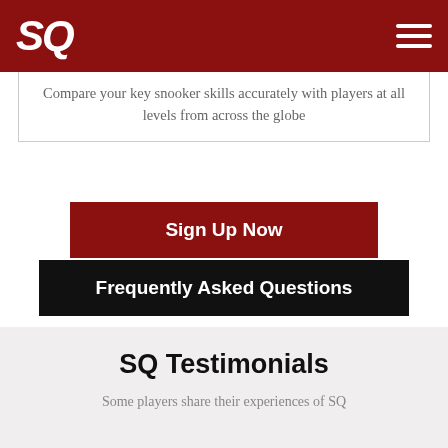SQ
Compare your key snooker skills accurately with players at all levels from across the globe
Sign Up Now
Frequently Asked Questions
SQ Testimonials
Some players share their experiences of SQ